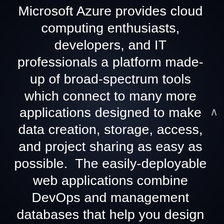Microsoft Azure provides cloud computing enthusiasts, developers, and IT professionals a platform made-up of broad-spectrum tools which connect to many more applications designed to make data creation, storage, access, and project sharing as easy as possible. The easily-deployable web applications combine DevOps and management databases that help you design disaster recovery programs, durable storage access points, high-performance computing, Internet of Things connectivity hub, Visual Studio service, encoding with live streaming, virtual machine creation, private network options, and much more. Azure's managed, elastic,